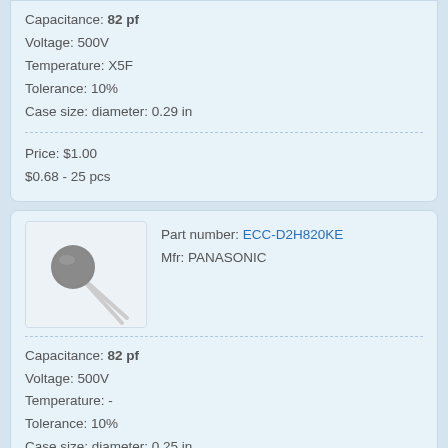Capacitance: 82 pf
Voltage: 500V
Temperature: X5F
Tolerance: 10%
Case size: diameter: 0.29 in
Price: $1.00
$0.68 - 25 pcs
[Figure (photo): Photo of a disc capacitor component with grey circular body and two wire leads]
Part number: ECC-D2H820KE
Mfr: PANASONIC
Capacitance: 82 pf
Voltage: 500V
Temperature: -
Tolerance: 10%
Case size: diameter: 0.25 in
Price: